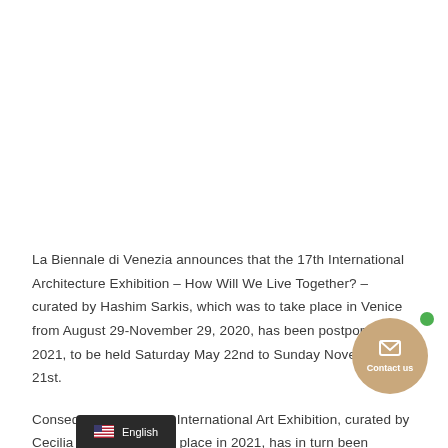La Biennale di Venezia announces that the 17th International Architecture Exhibition – How Will We Live Together? – curated by Hashim Sarkis, which was to take place in Venice from August 29-November 29, 2020, has been postponed to 2021, to be held Saturday May 22nd to Sunday November 21st.
Consequently, the 59th International Art Exhibition, curated by Cecilia Alemani, to take place in 2021, has in turn been postponed to 2022...